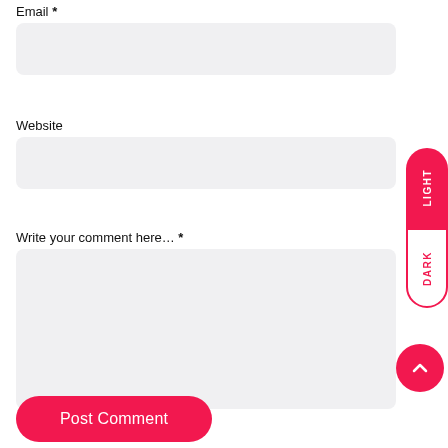Email *
[Figure (screenshot): Empty email input field with light gray background and rounded corners]
Website
[Figure (screenshot): Empty website input field with light gray background and rounded corners]
[Figure (infographic): Light/Dark mode toggle pill on the right side. Upper half is filled red with white LIGHT text rotated vertically. Lower half is white with red border and red DARK text rotated vertically.]
Write your comment here... *
[Figure (screenshot): Large empty comment textarea with light gray background and rounded corners]
[Figure (infographic): Red circular scroll-to-top button with white chevron/arrow pointing upward]
Post Comment